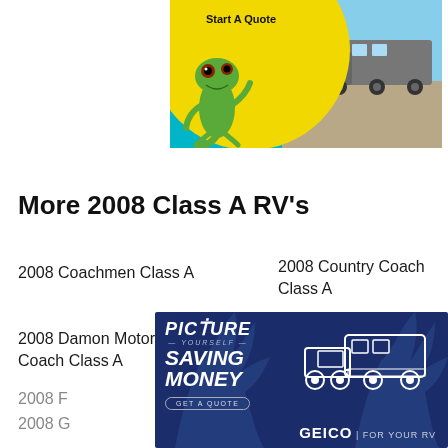[Figure (illustration): GEICO advertisement banner showing the GEICO gecko mascot with a yellow 'Start A Quote' button on a teal background, with a truck towing an RV on a road in the background]
More 2008 Class A RV's
2008 Coachmen Class A
2008 Country Coach Class A
2008 Damon Motor Coach Class A
2008 Fleetwood Class A
2008 F[obscured] Class A
2008 G[obscured] bler
[Figure (illustration): GEICO advertisement banner with dark blue background showing 'PICTURE YOURSELF SAVING MONEY' text with an RV and truck silhouette and GEICO FOR YOUR RV logo with a GET A QUOTE button]